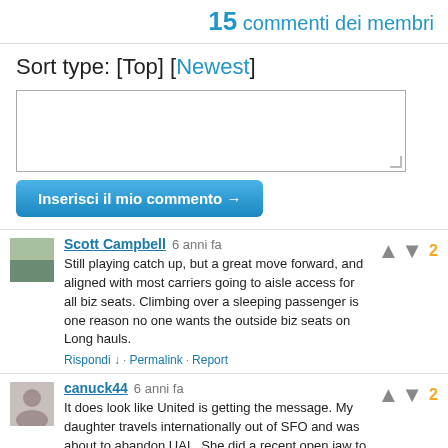15 commenti dei membri
Sort type: [Top] [Newest]
Inserisci il mio commento →
Scott Campbell 6 anni fa
Still playing catch up, but a great move forward, and aligned with most carriers going to aisle access for all biz seats. Climbing over a sleeping passenger is one reason no one wants the outside biz seats on Long hauls.
Rispondi ↓ · Permalink · Report
canuck44 6 anni fa
It does look like United is getting the message. My daughter travels internationally out of SFO and was about to abandon UAL. She did a recent open jaw to LHR and back from GVA and commented on the upgrade in attitude